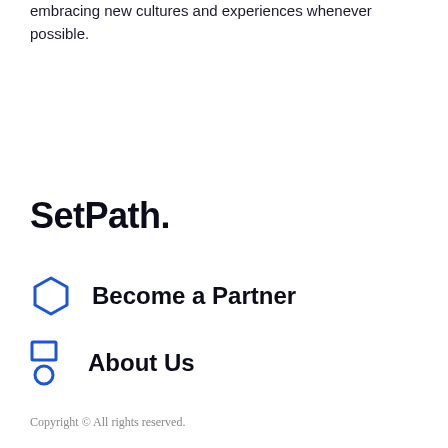embracing new cultures and experiences whenever possible.
SetPath.
Become a Partner
About Us
Copyright © All rights reserved.